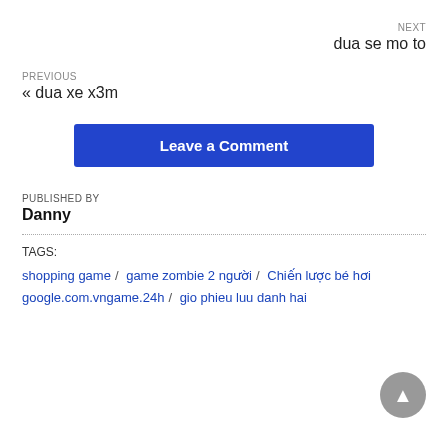NEXT
dua se mo to
PREVIOUS
« dua xe x3m
Leave a Comment
PUBLISHED BY
Danny
TAGS:
shopping game / game zombie 2 người / Chiến lược bé hơi / google.com.vngame.24h / gio phieu luu danh hai